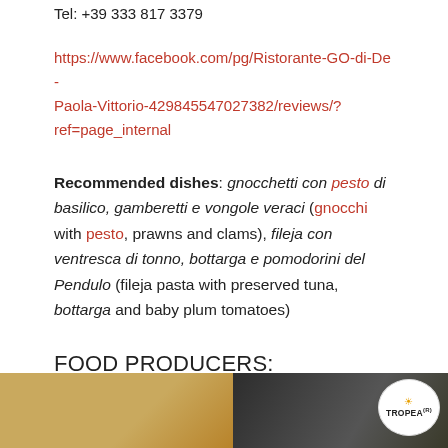Tel: +39 333 817 3379
https://www.facebook.com/pg/Ristorante-GO-di-De-Paola-Vittorio-429845547027382/reviews/?ref=page_internal
Recommended dishes: gnocchetti con pesto di basilico, gamberetti e vongole veraci (gnocchi with pesto, prawns and clams), fileja con ventresca di tonno, bottarga e pomodorini del Pendulo (fileja pasta with preserved tuna, bottarga and baby plum tomatoes)
FOOD PRODUCERS:
[Figure (photo): A photograph showing food products; on the right side there is a round badge/label reading 'TROPEA(R)' with a sun icon above it, on a dark background with colorful packaging.]